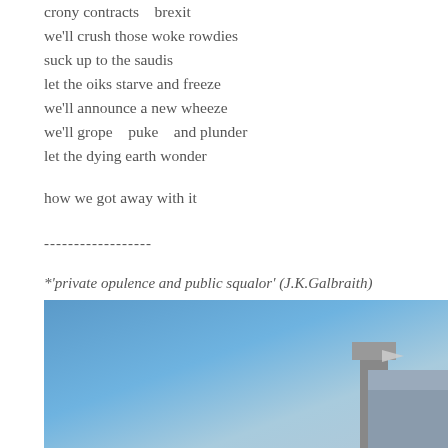crony contracts    brexit
we'll crush those woke rowdies
suck up to the saudis
let the oiks starve and freeze
we'll announce a new wheeze
we'll grope    puke    and plunder
let the dying earth wonder

how we got away with it

------------------
*'private opulence and public squalor' (J.K.Galbraith)
Read more...
[Figure (photo): A photograph taken from below looking up at a building corner or chimney against a clear blue sky. The stone or concrete structure shows architectural details including what appears to be a chimney or tower corner with a small flag or pennant visible.]